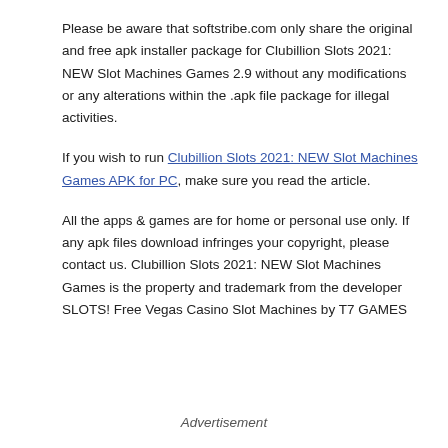Please be aware that softstribe.com only share the original and free apk installer package for Clubillion Slots 2021: NEW Slot Machines Games 2.9 without any modifications or any alterations within the .apk file package for illegal activities.
If you wish to run Clubillion Slots 2021: NEW Slot Machines Games APK for PC, make sure you read the article.
All the apps & games are for home or personal use only. If any apk files download infringes your copyright, please contact us. Clubillion Slots 2021: NEW Slot Machines Games is the property and trademark from the developer SLOTS! Free Vegas Casino Slot Machines by T7 GAMES
Advertisement